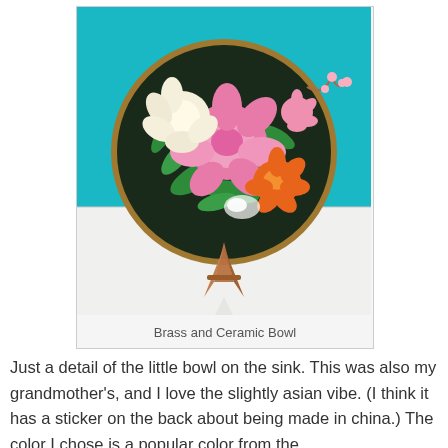[Figure (photo): A decorative brass and ceramic bowl with floral motifs in pink, white, orange, and green on a dark background, displayed on a wooden easel stand, set against a teal/turquoise wall with a white surface beneath.]
Brass and Ceramic Bowl
Just a detail of the little bowl on the sink.  This was also my grandmother's, and I love the slightly asian vibe.  (I think it has a sticker on the back about being made in china.)  The color I chose is a popular color from the